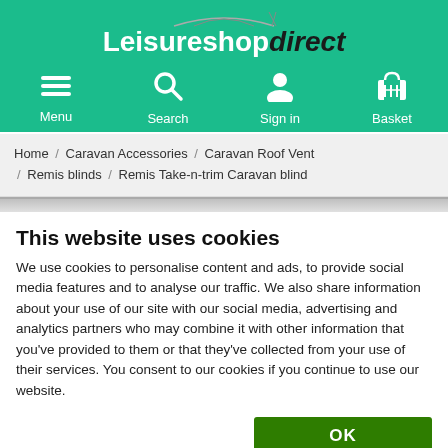[Figure (logo): Leisureshop direct logo with teal/green background and navigation icons for Menu, Search, Sign in, Basket]
Home / Caravan Accessories / Caravan Roof Vent / Remis blinds / Remis Take-n-trim Caravan blind
This website uses cookies
We use cookies to personalise content and ads, to provide social media features and to analyse our traffic. We also share information about your use of our site with our social media, advertising and analytics partners who may combine it with other information that you've provided to them or that they've collected from your use of their services. You consent to our cookies if you continue to use our website.
OK
Necessary  Preferences  Statistics  Marketing  Show details